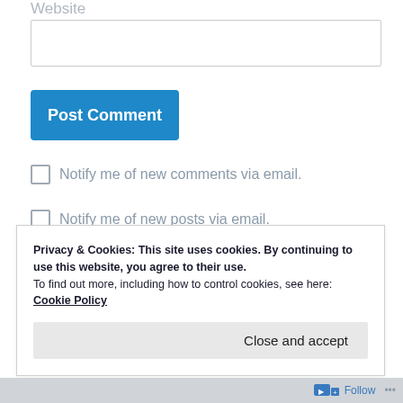Website
[Website input field]
Post Comment
Notify me of new comments via email.
Notify me of new posts via email.
Privacy & Cookies: This site uses cookies. By continuing to use this website, you agree to their use.
To find out more, including how to control cookies, see here: Cookie Policy
Close and accept
Follow